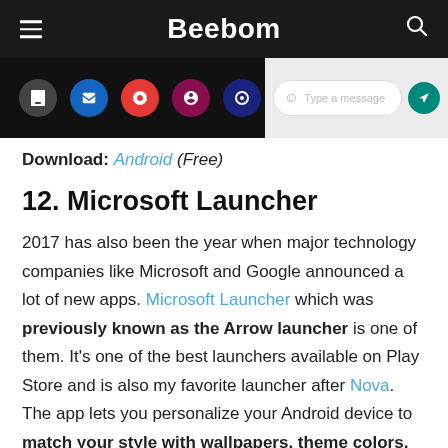Beebom
[Figure (screenshot): Screenshot strip showing app icons on dark background on left and a WhatsApp-style message input on right]
Download: Android (Free)
12. Microsoft Launcher
2017 has also been the year when major technology companies like Microsoft and Google announced a lot of new apps. Microsoft Launcher which was previously known as the Arrow launcher is one of them. It's one of the best launchers available on Play Store and is also my favorite launcher after Nova. The app lets you personalize your Android device to match your style with wallpapers, theme colors, icon packs and more. It's best for users who have a